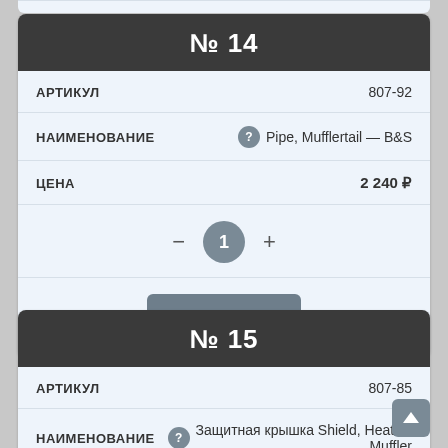№ 14
| Field | Value |
| --- | --- |
| АРТИКУЛ | 807-92 |
| НАИМЕНОВАНИЕ | Pipe, Mufflertail — B&S |
| ЦЕНА | 2 240 ₽ |
— 1 +
Купить
№ 15
| Field | Value |
| --- | --- |
| АРТИКУЛ | 807-85 |
| НАИМЕНОВАНИЕ | Защитная крышка Shield, Heat — Muffler |